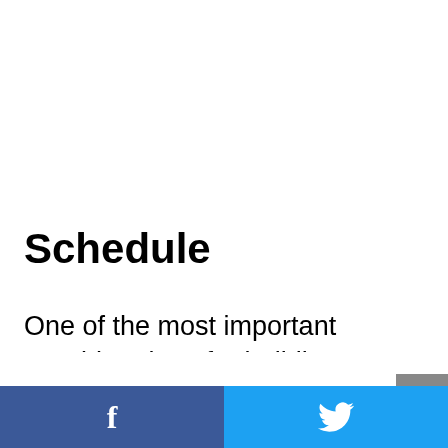Schedule
One of the most important considerations for building your own house is knowing what the schedule will look like. You should plan out the building of your home well in advance, but there is one thing that you need to understand—your schedule will really be
f  (Facebook share)  |  (Twitter share)